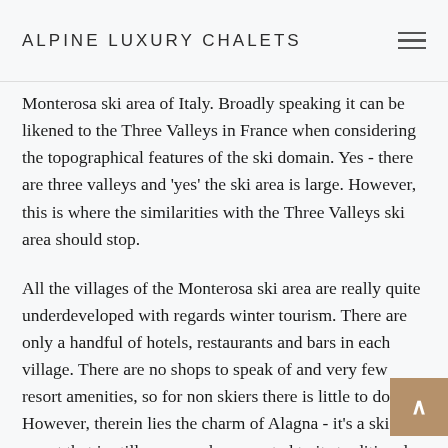ALPINE LUXURY CHALETS
Monterosa ski area of Italy. Broadly speaking it can be likened to the Three Valleys in France when considering the topographical features of the ski domain. Yes - there are three valleys and 'yes' the ski area is large. However, this is where the similarities with the Three Valleys ski area should stop.
All the villages of the Monterosa ski area are really quite underdeveloped with regards winter tourism. There are only a handful of hotels, restaurants and bars in each village. There are no shops to speak of and very few resort amenities, so for non skiers there is little to do. However, therein lies the charm of Alagna - it's a ski resort that is still very much connected to its traditional Walser culture. Indeed many of the old traditional buildings feature heavy drying balconies which are distinctive for the region.